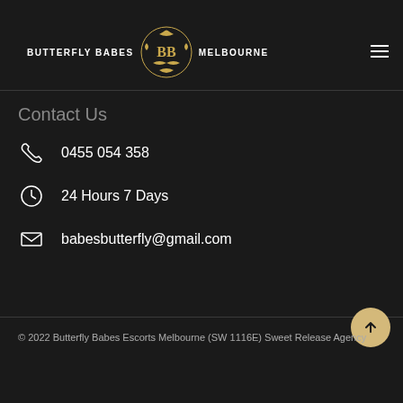CONTACT
[Figure (logo): Butterfly Babes Melbourne logo with ornate gold BB monogram and butterfly design flanked by text BUTTERFLY BABES and MELBOURNE]
Contact Us
0455 054 358
24 Hours 7 Days
babesbutterfly@gmail.com
© 2022 Butterfly Babes Escorts Melbourne (SW 1116E) Sweet Release Agency